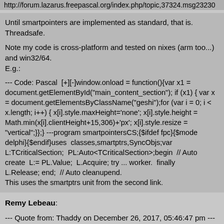http://forum.lazarus.freepascal.org/index.php/topic,37324.msg23230
Until smartpointers are implemented as standard, that is.
Threadsafe.

Note my code is cross-platform and tested on nixes (arm too...) and win32/64.
E.g.:
--- Code: Pascal  [+][-]window.onload = function(){var x1 = document.getElementById("main_content_section"); if (x1) { var x = document.getElementsByClassName("geshi");for (var i = 0; i < x.length; i++) { x[i].style.maxHeight='none'; x[i].style.height = Math.min(x[i].clientHeight+15,306)+'px'; x[i].style.resize = "vertical";}};} ---program smartpointersCS;{$ifdef fpc}{$mode delphi}{$endif}uses  classes,smartptrs,SyncObjs;var L:TCriticalSection;  PL:Auto<TCriticalSection>;begin  // Auto create  L:= PL.Value;  L.Acquire; try ... worker.  finally  L.Release; end;  // Auto cleanupend.
This uses the smartptrs unit from the second link.
Remy Lebeau:
--- Quote from: Thaddy on December 26, 2017, 05:46:47 pm ---
The leaks may disappear if you wrap the leaking classes in something like my smartpointer code I borrowed from an idea by